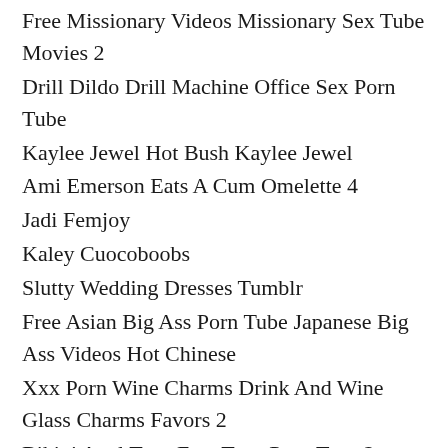Free Missionary Videos Missionary Sex Tube Movies 2
Drill Dildo Drill Machine Office Sex Porn Tube
Kaylee Jewel Hot Bush Kaylee Jewel
Ami Emerson Eats A Cum Omelette 4
Jadi Femjoy
Kaley Cuocoboobs
Slutty Wedding Dresses Tumblr
Free Asian Big Ass Porn Tube Japanese Big Ass Videos Hot Chinese
Xxx Porn Wine Charms Drink And Wine Glass Charms Favors 2
Bikini Anal Teen Free Teen Porn Teen 2
Search Ebony Eyes Ebony Porn Movies Ebony Girls Porn
Best Veronika Images On Pinterest Tart Tarts And